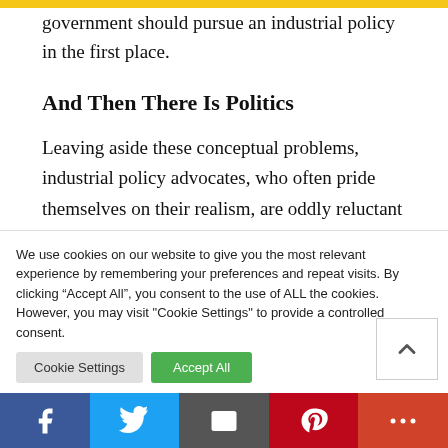government should pursue an industrial policy in the first place.
And Then There Is Politics
Leaving aside these conceptual problems, industrial policy advocates, who often pride themselves on their realism, are oddly reluctant to acknowledge an important reality that plagues industrial policy from start to finish: politics
We use cookies on our website to give you the most relevant experience by remembering your preferences and repeat visits. By clicking “Accept All”, you consent to the use of ALL the cookies. However, you may visit "Cookie Settings" to provide a controlled consent.
Facebook  Twitter  Email  Pinterest  More